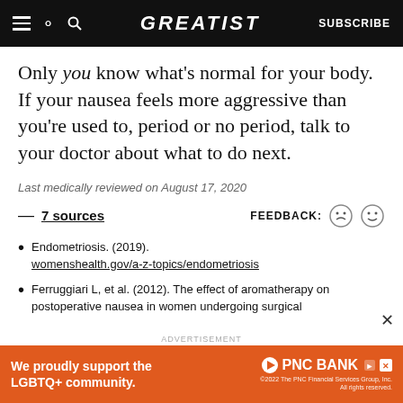GREATIST — SUBSCRIBE
Only you know what's normal for your body. If your nausea feels more aggressive than you're used to, period or no period, talk to your doctor about what to do next.
Last medically reviewed on August 17, 2020
— 7 sources   FEEDBACK:
Endometriosis. (2019). womenshealth.gov/a-z-topics/endometriosis
Ferruggiari L, et al. (2012). The effect of aromatherapy on postoperative nausea in women undergoing surgical
[Figure (infographic): PNC Bank advertisement banner: orange background with text 'We proudly support the LGBTQ+ community.' and PNC Bank logo with copyright notice '©2022 The PNC Financial Services Group, Inc. All rights reserved.']